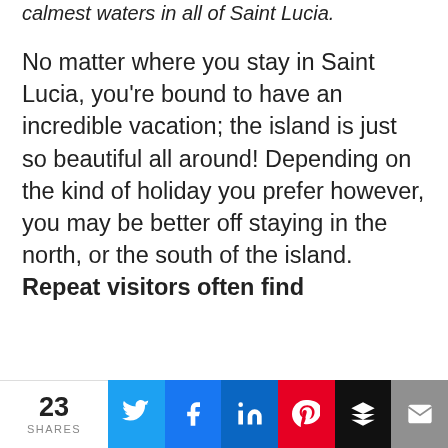calmest waters in all of Saint Lucia.
No matter where you stay in Saint Lucia, you're bound to have an incredible vacation; the island is just so beautiful all around! Depending on the kind of holiday you prefer however, you may be better off staying in the north, or the south of the island. Repeat visitors often find themselves choosing to stay in the [same area on each] trip...
[Figure (photo): Aerial photo of Sandals Regency La Toc resort beach with turquoise water]
Sandals Regency La Toc
[Figure (photo): Aerial photo of Sandals Grande St. Lucian resort with beach and palm trees]
Sandals Grande St. Lucian
[Figure (photo): Aerial photo of Sandals Halcyon Beach resort with clear blue water]
Sandals Halcyon Beach
When it comes down to deciding the best [hotel of Saint Lucia]...
23 SHARES  [Twitter] [Facebook] [LinkedIn] [Pinterest] [Buffer] [Email]